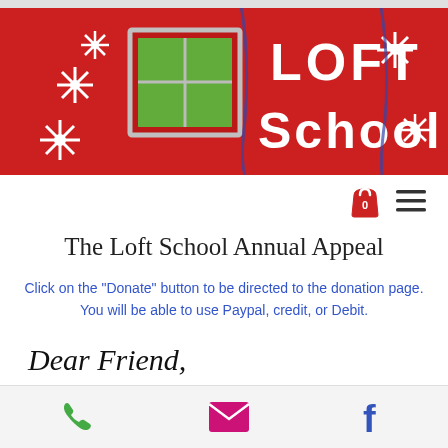[Figure (photo): Red building exterior with 'LOFT School' written in large white letters, decorated with white paper flowers and blue ribbons. A window on the left reveals green foliage behind it.]
The Loft School Annual Appeal
Click on the "Donate" button to be directed to the donation page. You will be able to use Paypal, credit, or Debit.
Dear Friend,
[Figure (infographic): Footer bar with three icons: green phone icon on left, pink/magenta envelope icon in center, blue Facebook 'f' icon on right.]